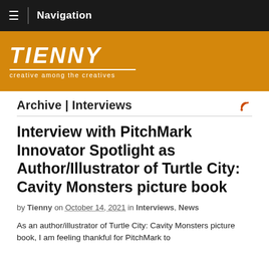Navigation
[Figure (logo): Tienny blog logo on orange background with tagline 'creative among the creatives']
Archive | Interviews
Interview with PitchMark Innovator Spotlight as Author/Illustrator of Turtle City: Cavity Monsters picture book
by Tienny on October 14, 2021 in Interviews, News
As an author/illustrator of Turtle City: Cavity Monsters picture book, I am feeling thankful for PitchMark to